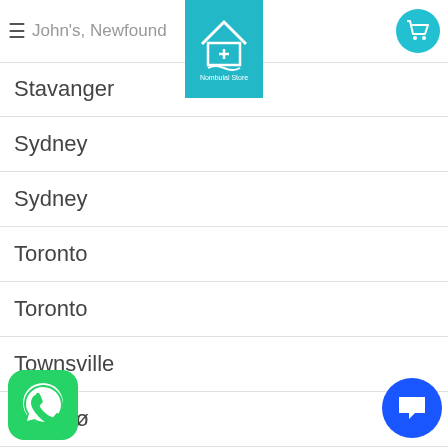≡ John's, Newfound...
Stavanger
Sydney
Sydney
Toronto
Toronto
Townsville
Tromsø
Trondheim
...d Kingdom
United States